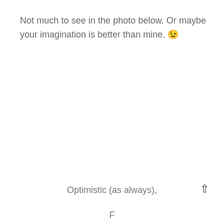Not much to see in the photo below. Or maybe your imagination is better than mine. 😉
Optimistic (as always),
F